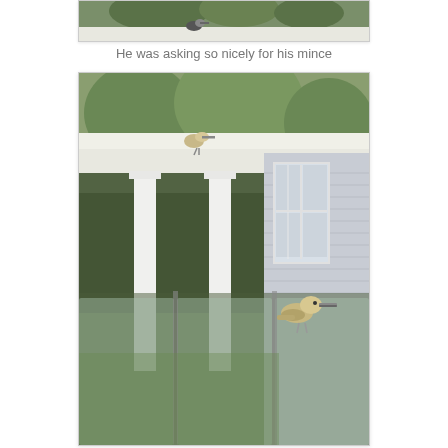[Figure (photo): Top portion of a photo showing a house roofline with a kookaburra bird perched on the gutter, trees visible in background]
He was asking so nicely for his mince
[Figure (photo): Photo of a house porch/veranda with white columns, glass pool fence in foreground, and a kookaburra bird perched on the glass fence near a window. Trees and green lawn visible in background.]